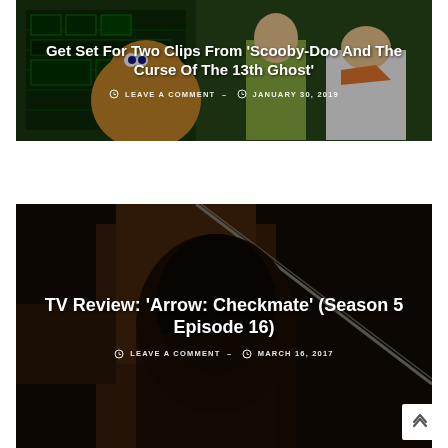[Figure (photo): Scooby-Doo animated cartoon screenshot with title overlay: 'Get Set For Two Clips From ‘Scooby-Doo And The Curse Of The 13th Ghost’' and meta: LEAVE A COMMENT - JANUARY 30, 2019]
[Figure (photo): Arrow TV show dark action screenshot with title overlay: 'TV Review: ‘Arrow: Checkmate’ (Season 5 Episode 16)' and meta: LEAVE A COMMENT - MARCH 16, 2017]